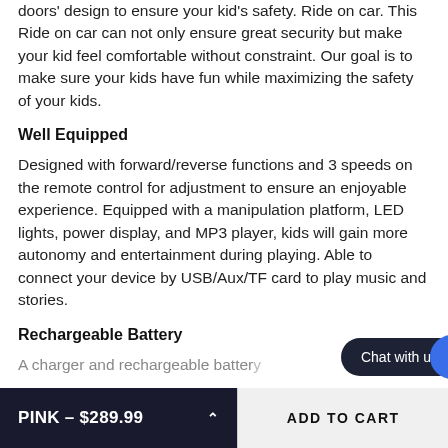doors' design to ensure your kid's safety. Ride on car. This Ride on car can not only ensure great security but make your kid feel comfortable without constraint. Our goal is to make sure your kids have fun while maximizing the safety of your kids.
Well Equipped
Designed with forward/reverse functions and 3 speeds on the remote control for adjustment to ensure an enjoyable experience. Equipped with a manipulation platform, LED lights, power display, and MP3 player, kids will gain more autonomy and entertainment during playing. Able to connect your device by USB/Aux/TF card to play music and stories.
Rechargeable Battery
A charger and rechargeable batter...
Chat with us
PINK – $289.99
ADD TO CART